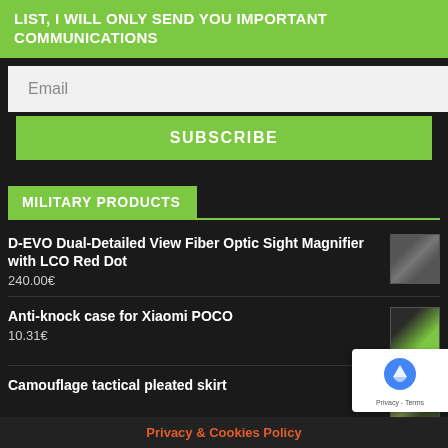LIST, I WILL ONLY SEND YOU IMPORTANT COMMUNICATIONS
Email
SUBSCRIBE
MILITARY PRODUCTS
D-EVO Dual-Detailed View Fiber Optic Sight Magnifier with LCO Red Dot
240.00€
Anti-knock case for Xiaomi POCO
10.31€
Camouflage tactical pleated skirt
Tactical Vest LVAC Assault Plate Carrier with ROC Olive Green
145.69€
Privacy & Cookies Policy